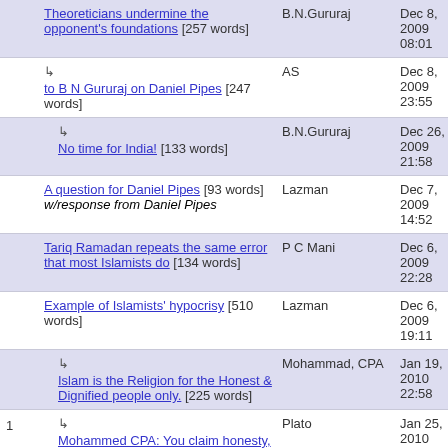| # | Title | Author | Date |
| --- | --- | --- | --- |
|  | Theoreticians undermine the opponent's foundations [257 words] | B.N.Gururaj | Dec 8, 2009 08:01 |
|  | ↳ to B N Gururaj on Daniel Pipes [247 words] | AS | Dec 8, 2009 23:55 |
|  | ↳ No time for India! [133 words] | B.N.Gururaj | Dec 26, 2009 21:58 |
|  | A question for Daniel Pipes [93 words] w/response from Daniel Pipes | Lazman | Dec 7, 2009 14:52 |
|  | Tariq Ramadan repeats the same error that most Islamists do [134 words] | P C Mani | Dec 6, 2009 22:28 |
|  | Example of Islamists' hypocrisy [510 words] | Lazman | Dec 6, 2009 19:11 |
|  | ↳ Islam is the Religion for the Honest & Dignified people only. [225 words] | Mohammad, CPA | Jan 19, 2010 22:58 |
| 1 | ↳ Mohammed CPA: You claim honesty, give an honest answer to what Koran 9:33, 48:28 and 61:9 | Plato | Jan 25, 2010 22:14 |